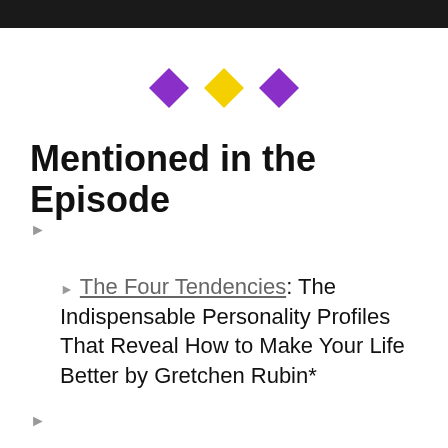[Figure (screenshot): Dark video player bar at top of page]
[Figure (illustration): Three decorative diamond shapes: purple, yellow, purple]
Mentioned in the Episode
▶ (collapsed list item)
▶ The Four Tendencies: The Indispensable Personality Profiles That Reveal How to Make Your Life Better by Gretchen Rubin*
▶ (collapsed list item)